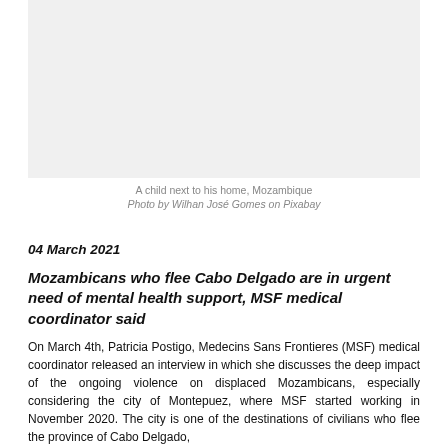[Figure (photo): A child next to his home in Mozambique (image area, light gray placeholder)]
A child next to his home, Mozambique
Photo by Wilhan José Gomes on Pixabay
04 March 2021
Mozambicans who flee Cabo Delgado are in urgent need of mental health support, MSF medical coordinator said
On March 4th, Patricia Postigo, Medecins Sans Frontieres (MSF) medical coordinator released an interview in which she discusses the deep impact of the ongoing violence on displaced Mozambicans, especially considering the city of Montepuez, where MSF started working in November 2020. The city is one of the destinations of civilians who flee the province of Cabo Delgado,